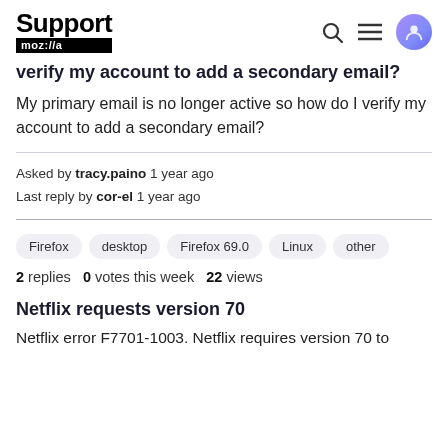Support moz://a
verify my account to add a secondary email?
My primary email is no longer active so how do I verify my account to add a secondary email?
Asked by tracy.paino 1 year ago
Last reply by cor-el 1 year ago
Firefox  desktop  Firefox 69.0  Linux  other
2 replies  0 votes this week  22 views
Netflix requests version 70
Netflix error F7701-1003. Netflix requires version 70 to